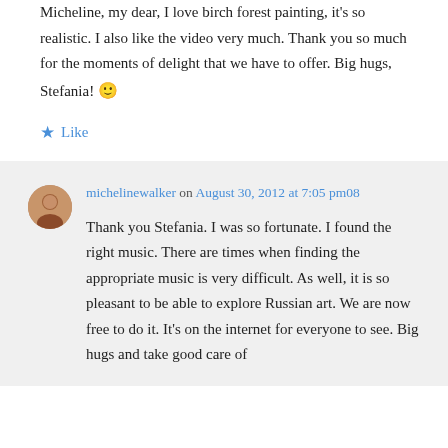Micheline, my dear, I love birch forest painting, it's so realistic. I also like the video very much. Thank you so much for the moments of delight that we have to offer. Big hugs, Stefania! 🙂
★ Like
michelinewalker on August 30, 2012 at 7:05 pm08
Thank you Stefania. I was so fortunate. I found the right music. There are times when finding the appropriate music is very difficult. As well, it is so pleasant to be able to explore Russian art. We are now free to do it. It's on the internet for everyone to see. Big hugs and take good care of